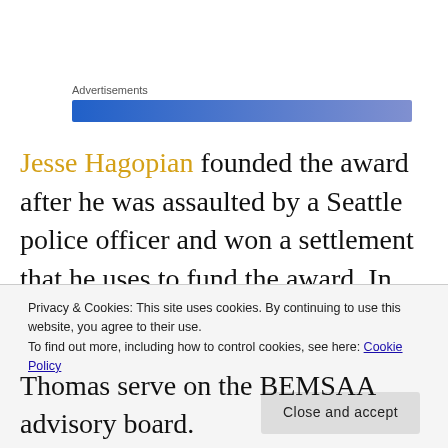Advertisements
[Figure (other): Blue gradient advertisement banner]
Jesse Hagopian founded the award after he was assaulted by a Seattle police officer and won a settlement that he uses to fund the award. In addition, former Seattle Sea hawk Michael
Privacy & Cookies: This site uses cookies. By continuing to use this website, you agree to their use.
To find out more, including how to control cookies, see here: Cookie Policy
Close and accept
Thomas serve on the BEMSAA advisory board.